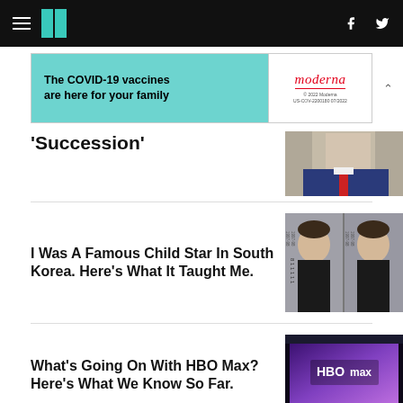HuffPost navigation bar with hamburger menu, logo, Facebook and Twitter icons
[Figure (other): Moderna COVID-19 vaccine advertisement banner: 'The COVID-19 vaccines are here for your family' on teal background, Moderna logo on white right side]
'Succession'
[Figure (photo): Partial photo of man in suit with red tie]
I Was A Famous Child Star In South Korea. Here's What It Taught Me.
[Figure (photo): School portrait photos of a child, two side-by-side images with year labels 1997-98 and 1997-98]
What's Going On With HBO Max? Here's What We Know So Far.
[Figure (photo): HBO Max panel event photo with purple stage backdrop and HBO Max logo]